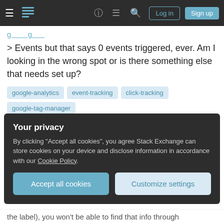Stack Exchange navigation bar with hamburger menu, logo, help, chat, search icons, Log in and Sign up buttons
> Events but that says 0 events triggered, ever. Am I looking in the wrong spot or is there something else that needs set up?
google-analytics
event-tracking
click-tracking
google-tag-manager
Share
Improve this question
Follow
asked Jan 29, 2015 at 3:46
user49310
11 ●1
Your privacy
By clicking "Accept all cookies", you agree Stack Exchange can store cookies on your device and disclose information in accordance with our Cookie Policy.
Accept all cookies   Customize settings
the label), you won't be able to find that info through